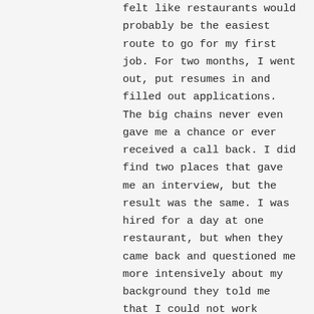felt like restaurants would probably be the easiest route to go for my first job. For two months, I went out, put resumes in and filled out applications. The big chains never even gave me a chance or ever received a call back. I did find two places that gave me an interview, but the result was the same. I was hired for a day at one restaurant, but when they came back and questioned me more intensively about my background they told me that I could not work there. I was told later by the Kitchen manager that the decision was not from corporate, but that the Assistant Manager of the restaurant made the decision. This was very hurtful as I was working so hard that first night. The Kitchen manager kept trying to get me to come back.